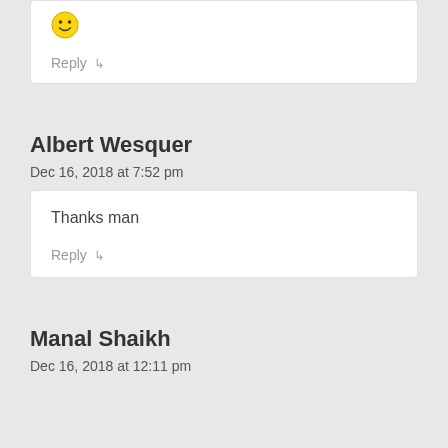[Figure (illustration): Smiley face emoji inside a comment box]
Reply ↳
Albert Wesquer
Dec 16, 2018 at 7:52 pm
Thanks man
Reply ↳
Manal Shaikh
Dec 16, 2018 at 12:11 pm